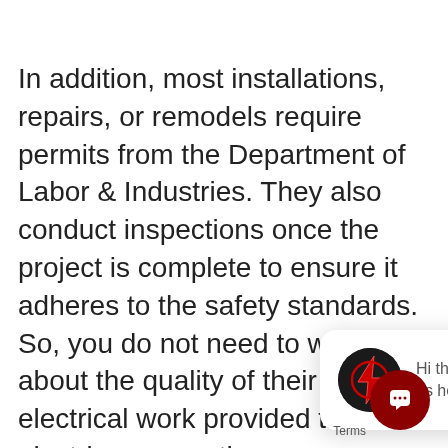In addition, most installations, repairs, or remodels require permits from the Department of Labor & Industries. They also conduct inspections once the project is complete to ensure it adheres to the safety standards. So, you do not need to worry about the quality of their electrical work provided the electricians has the proper certifications.

Certified electricians are also required by law to follow the National Electrical Code to protect you and your property from electrical hazards. Nevertheless, most residential electrical services do not require permits. To see which projects
[Figure (screenshot): Chat popup with close button showing avatar logo and message 'Hi there, have a question? Text us here.' with a chat icon button in bottom right corner]